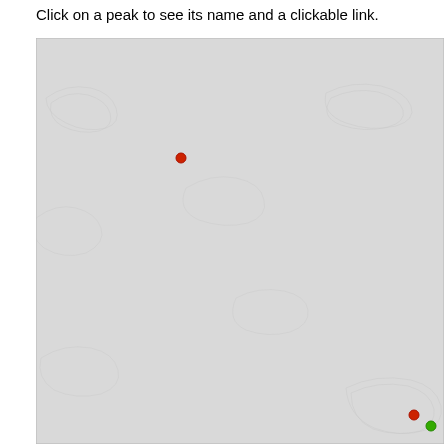Click on a peak to see its name and a clickable link.
[Figure (map): Interactive map with a light gray background showing terrain/topographic outlines. Two colored dots mark peak locations: one red dot in the upper-left area of the map, and two dots (one red, one green) clustered in the lower-right corner of the map.]